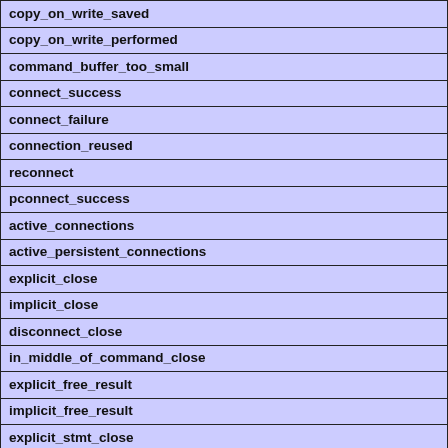| copy_on_write_saved |
| copy_on_write_performed |
| command_buffer_too_small |
| connect_success |
| connect_failure |
| connection_reused |
| reconnect |
| pconnect_success |
| active_connections |
| active_persistent_connections |
| explicit_close |
| implicit_close |
| disconnect_close |
| in_middle_of_command_close |
| explicit_free_result |
| implicit_free_result |
| explicit_stmt_close |
| implicit_stmt_close |
| mem_emalloc_count |
| mem_emalloc_amount |
| mem_ecalloc_count |